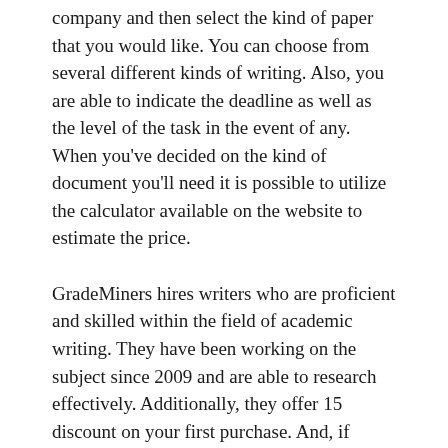company and then select the kind of paper that you would like. You can choose from several different kinds of writing. Also, you are able to indicate the deadline as well as the level of the task in the event of any. When you've decided on the kind of document you'll need it is possible to utilize the calculator available on the website to estimate the price.
GradeMiners hires writers who are proficient and skilled within the field of academic writing. They have been working on the subject since 2009 and are able to research effectively. Additionally, they offer 15 discount on your first purchase. And, if you're unhappy with the paper you received If you are unhappy with the work, you may request a free revision. So long as your paper adheres to quality standards that GradeMiners adheres to, they will not let you down. You should be cautious when